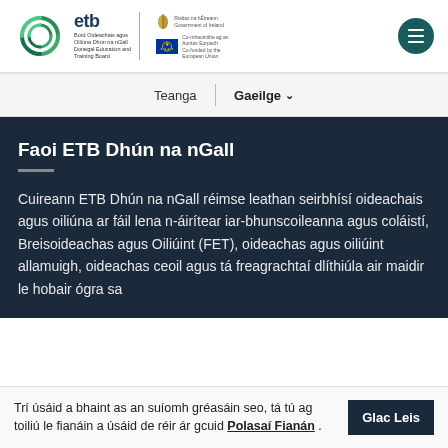[Figure (logo): ETB Donegal Education and Training Board logo with spiral graphic, ETB text, Government of Ireland harp logo, and EU co-funded flag]
Teanga | Gaeilge
Faoi ETB Dhún na nGall
Cuireann ETB Dhún na nGall réimse leathan seirbhísí oideachais agus oiliúna ar fáil lena n-áirítear iar-bhunscoileanna agus coláistí, Breisoideachas agus Oiliúint (FET), oideachas agus oiliúint allamuigh, oideachas ceoil agus tá freagrachtaí dlíthiúla air maidir le hobair ógra sa
Trí úsáid a bhaint as an suíomh gréasáin seo, tá tú ag toiliú le fianáin a úsáid de réir ár gcuid Polasaí Fianán . Glac Leis